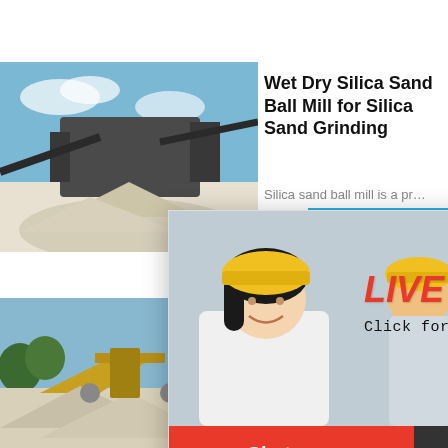[Figure (photo): Mining/crushing equipment with gravel pile, blue sky background - top product card thumbnail]
Wet Dry Silica Sand Ball Mill for Silica Sand Grinding
Silica sand ball mill is a pr…
[Figure (infographic): Live Chat popup with workers in yellow hard hats, LIVE CHAT text in red italic, 'Click for a Free Consultation', Chat now and Chat later buttons]
[Figure (photo): Right side blue panel with crusher machine image, 'hour online', 'Click me to chat>>', 'Enquiry', 'limingjlmofen' text]
[Figure (photo): Mining/crushing operation with yellow equipment and gravel pile - bottom product card thumbnail]
Silica s…ng plant m… from Ch…
The proc…